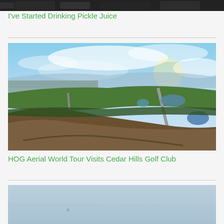[Figure (photo): Partial top image, cropped — appears to be a close-up photo with dark tones, possibly a vehicle or person]
I've Started Drinking Pickle Juice
[Figure (photo): Aerial panoramic photograph of Cedar Hills Golf Club showing rolling terrain, fairways, water features, roads, surrounding neighborhood, mountains, and dramatic cloudy sky]
HOG Aerial World Tour Visits Cedar Hills Golf Club
[Figure (photo): Partial bottom image, light blue-gray tones, appears to be a sky or water surface photo]